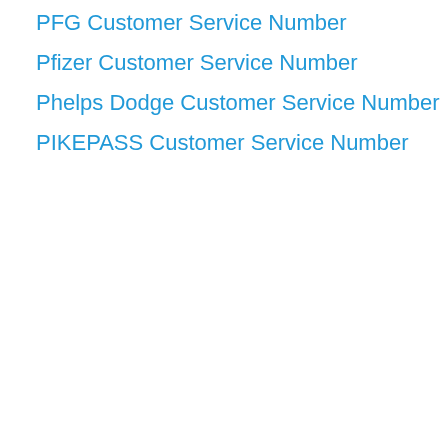PFG Customer Service Number
Pfizer Customer Service Number
Phelps Dodge Customer Service Number
PIKEPASS Customer Service Number